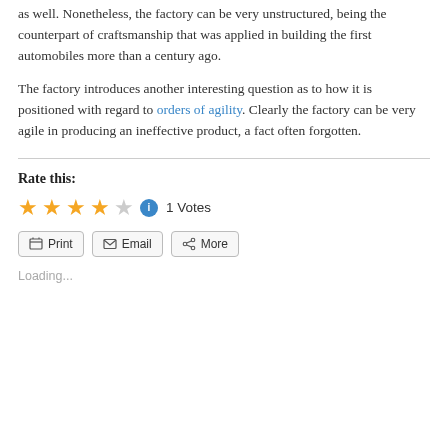as well. Nonetheless, the factory can be very unstructured, being the counterpart of craftsmanship that was applied in building the first automobiles more than a century ago.
The factory introduces another interesting question as to how it is positioned with regard to orders of agility. Clearly the factory can be very agile in producing an ineffective product, a fact often forgotten.
Rate this:
[Figure (other): 4-star rating widget showing 4 filled gold stars and 1 empty star, with an info icon and '1 Votes' text]
Print  Email  More
Loading...